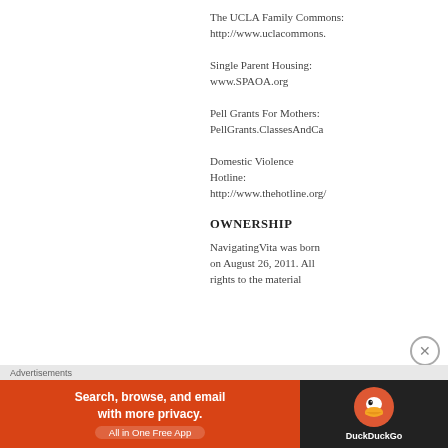The UCLA Family Commons: http://www.uclacommons.
Single Parent Housing: www.SPAOA.org
Pell Grants For Mothers: PellGrants.ClassesAndCa
Domestic Violence Hotline: http://www.thehotline.org/
OWNERSHIP
NavigatingVita was born on August 26, 2011. All rights to the material
[Figure (other): DuckDuckGo advertisement banner: Search, browse, and email with more privacy. All in One Free App. DuckDuckGo logo on dark background.]
Advertisements